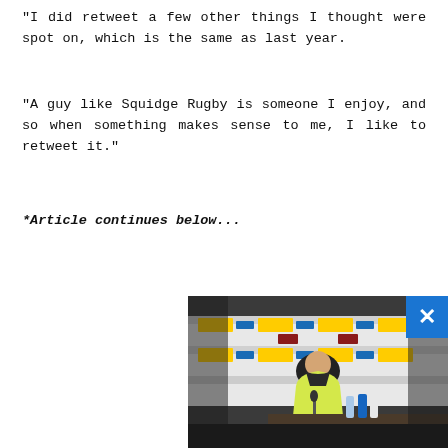"I did retweet a few other things I thought were spot on, which is the same as last year.
"A guy like Squidge Rugby is someone I enjoy, and so when something makes sense to me, I like to retweet it."
*Article continues below...
[Figure (photo): Video thumbnail showing a person in a yellow ASICS top seated at a press conference table with sponsor banners in the background, with a blue close (X) button in the top right corner of the video overlay.]